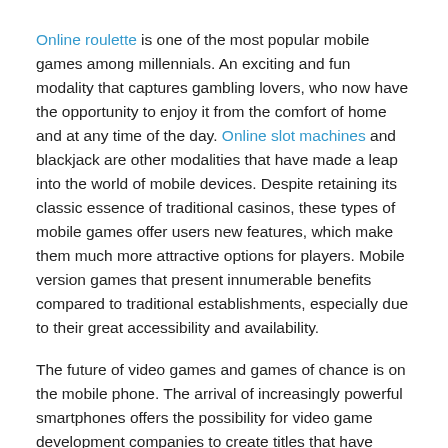Online roulette is one of the most popular mobile games among millennials. An exciting and fun modality that captures gambling lovers, who now have the opportunity to enjoy it from the comfort of home and at any time of the day. Online slot machines and blackjack are other modalities that have made a leap into the world of mobile devices. Despite retaining its classic essence of traditional casinos, these types of mobile games offer users new features, which make them much more attractive options for players. Mobile version games that present innumerable benefits compared to traditional establishments, especially due to their great accessibility and availability.
The future of video games and games of chance is on the mobile phone. The arrival of increasingly powerful smartphones offers the possibility for video game development companies to create titles that have nothing to envy to the console or PC versions. In fact, mobile devices have opened up a new world of possibilities for gamers, who can now enjoy their favourite games, even play against other players in the community. In addition, the games are faster and more entertaining, so they adapt to the little free time that most people have in today's society. A number of features that augur a promising future for mobile